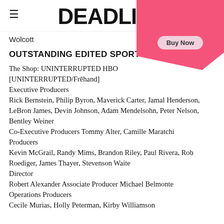DEADLINE
Wolcott
OUTSTANDING EDITED SPORTS SERIES
The Shop: UNINTERRUPTED HBO [UNINTERRUPTED/Frehand]
Executive Producers
Rick Bernstein, Philip Byron, Maverick Carter, Jamal Henderson, LeBron James, Devin Johnson, Adam Mendelsohn, Peter Nelson, Bentley Weiner
Co-Executive Producers Tommy Alter, Camille Maratchi
Producers
Kevin McGrail, Randy Mims, Brandon Riley, Paul Rivera, Rob Roediger, James Thayer, Stevenson Waite
Director
Robert Alexander Associate Producer Michael Belmonte
Operations Producers
Cecile Murias, Holly Peterman, Kirby Williamson